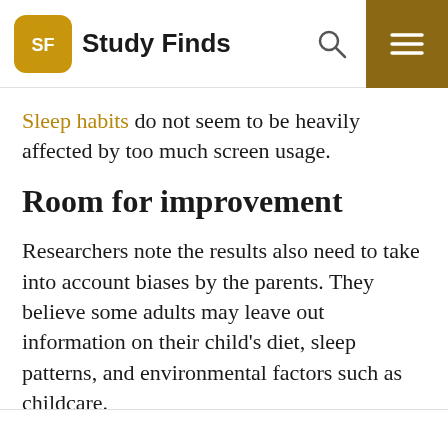Study Finds
Sleep habits do not seem to be heavily affected by too much screen usage.
Room for improvement
Researchers note the results also need to take into account biases by the parents. They believe some adults may leave out information on their child's diet, sleep patterns, and environmental factors such as childcare.